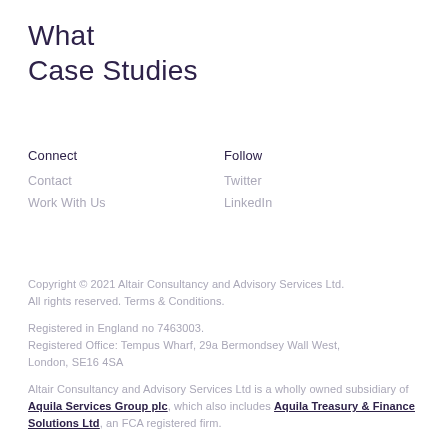What
Case Studies
Connect
Contact
Work With Us
Follow
Twitter
LinkedIn
Copyright © 2021 Altair Consultancy and Advisory Services Ltd. All rights reserved. Terms & Conditions.
Registered in England no 7463003.
Registered Office: Tempus Wharf, 29a Bermondsey Wall West, London, SE16 4SA
Altair Consultancy and Advisory Services Ltd is a wholly owned subsidiary of Aquila Services Group plc, which also includes Aquila Treasury & Finance Solutions Ltd, an FCA registered firm.